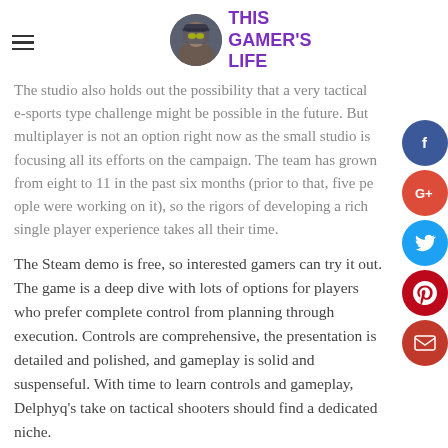THIS GAMER'S LIFE
The studio also holds out the possibility that a very tactical e-sports type challenge might be possible in the future. But multiplayer is not an option right now as the small studio is focusing all its efforts on the campaign. The team has grown from eight to 11 in the past six months (prior to that, five people were working on it), so the rigors of developing a rich single player experience takes all their time.
The Steam demo is free, so interested gamers can try it out. The game is a deep dive with lots of options for players who prefer complete control from planning through execution. Controls are comprehensive, the presentation is detailed and polished, and gameplay is solid and suspenseful. With time to learn controls and gameplay, Delphyq's take on tactical shooters should find a dedicated niche.
Wave Break
It was a pleasure to see and demo this game again, after having